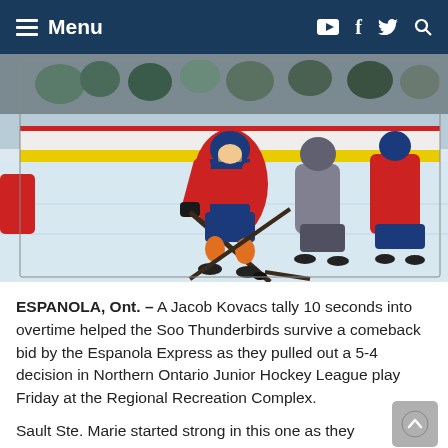Menu
[Figure (photo): Hockey game action photo showing Soo Thunderbirds player in red and blue jersey skating with puck against Espanola Express players in grey jerseys along the boards at an ice rink]
ESPANOLA, Ont. – A Jacob Kovacs tally 10 seconds into overtime helped the Soo Thunderbirds survive a comeback bid by the Espanola Express as they pulled out a 5-4 decision in Northern Ontario Junior Hockey League play Friday at the Regional Recreation Complex.
Sault Ste. Marie started strong in this one as they